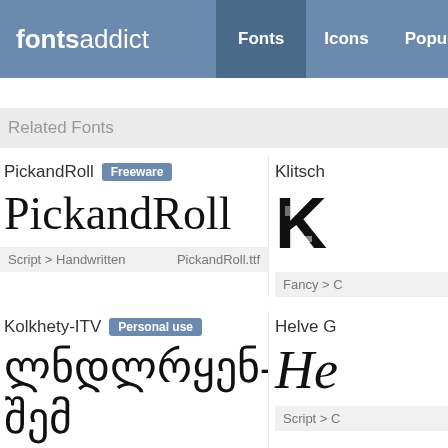fontsaddict — Fonts | Icons | Popular
Related Fonts
PickandRoll — Freeware
[Figure (illustration): PickandRoll font preview showing 'PickandRoll' in handwritten style]
Script > Handwritten   PickandRoll.ttf
Klitsch — font name (partially visible)
[Figure (illustration): Klitsch font preview showing a decorative K letter]
Fancy > C...
Kolkhety-ITV — Personal use
[Figure (illustration): Kolkhety-ITV font preview showing Georgian script text]
Foreign > Georgian   !KLKHT1.TTF
Helve G... — font name (partially visible)
[Figure (illustration): Helve G font preview showing cursive script letters]
Script > C...
Anitlles Laser Academy Italic
BlackC... (partially visible)